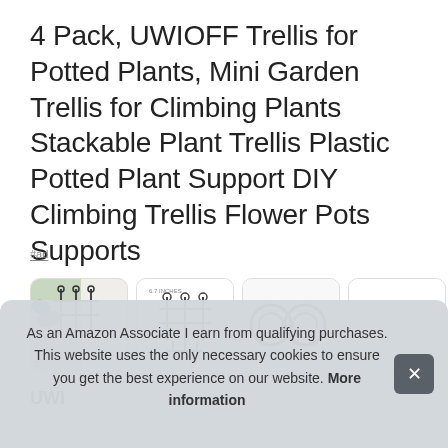4 Pack, UWIOFF Trellis for Potted Plants, Mini Garden Trellis for Climbing Plants Stackable Plant Trellis Plastic Potted Plant Support DIY Climbing Trellis Flower Pots Supports
#ad
[Figure (photo): Row of four product thumbnail images showing plant trellis products]
UWIOFF
As an Amazon Associate I earn from qualifying purchases. This website uses the only necessary cookies to ensure you get the best experience on our website. More information